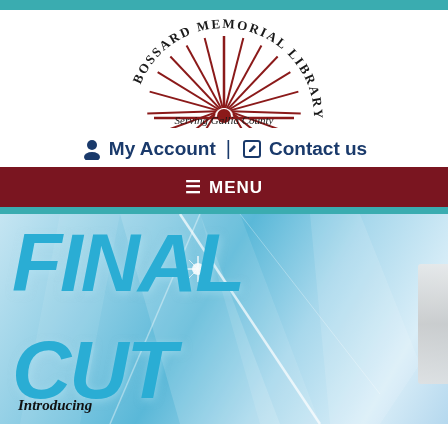[Figure (logo): Bossard Memorial Library logo — semicircle sunburst in dark red with text arching above reading BOSSARD MEMORIAL LIBRARY, and below in italic serif: Serving Gallia County]
My Account | Contact us
≡ MENU
[Figure (photo): Book cover for 'Final Cut' — large bold italic cyan/blue text reading FINAL CUT on a light blue crystalline/diamond shard background. Bottom left reads 'Introducing' in bold italic. A partial disc/CD visible on the right edge.]